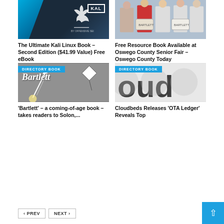[Figure (photo): Kali Linux logo on dark background with blue geometric shapes]
[Figure (photo): Group of people holding resource books at Oswego County Senior Fair]
The Ultimate Kali Linux Book – Second Edition ($41.99 Value) Free eBook
Free Resource Book Available at Oswego County Senior Fair – Oswego County Today
[Figure (photo): Directory book cover for Bartlett with rocket and kite imagery, DIRECTORY BOOK badge]
[Figure (photo): Cloudbeds directory book showing 'oud' text partially visible, DIRECTORY BOOK badge]
'Bartlett' – a coming-of-age book – takes readers to Solon,...
Cloudbeds Releases 'OTA Ledger' Reveals Top
‹ PREV
NEXT ›